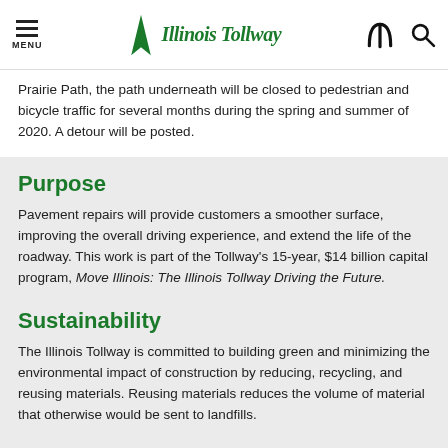Illinois Tollway
Prairie Path, the path underneath will be closed to pedestrian and bicycle traffic for several months during the spring and summer of 2020. A detour will be posted.
Purpose
Pavement repairs will provide customers a smoother surface, improving the overall driving experience, and extend the life of the roadway. This work is part of the Tollway's 15-year, $14 billion capital program, Move Illinois: The Illinois Tollway Driving the Future.
Sustainability
The Illinois Tollway is committed to building green and minimizing the environmental impact of construction by reducing, recycling, and reusing materials. Reusing materials reduces the volume of material that otherwise would be sent to landfills.
Work Zone Safety